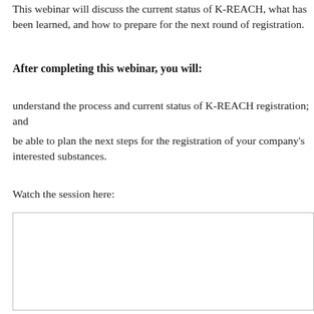This webinar will discuss the current status of K-REACH, what has been learned, and how to prepare for the next round of registration.
After completing this webinar, you will:
understand the process and current status of K-REACH registration; and
be able to plan the next steps for the registration of your company's interested substances.
Watch the session here:
[Figure (other): Embedded video player placeholder box]